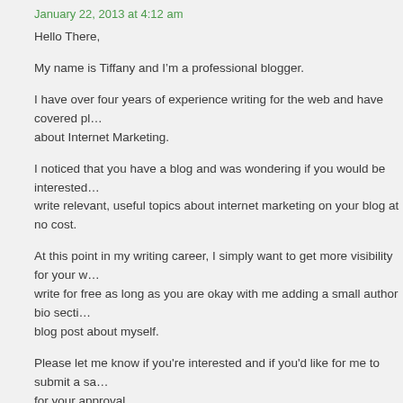January 22, 2013 at 4:12 am
Hello There,
My name is Tiffany and I’m a professional blogger.
I have over four years of experience writing for the web and have covered pl... about Internet Marketing.
I noticed that you have a blog and was wondering if you would be interested ... write relevant, useful topics about internet marketing on your blog at no cost.
At this point in my writing career, I simply want to get more visibility for your w... write for free as long as you are okay with me adding a small author bio secti... blog post about myself.
Please let me know if you’re interested and if you’d like for me to submit a sa... for your approval.
Thanks a bunch,
Tiffany
Michelle Patterson says:
January 24, 2013 at 5:49 am